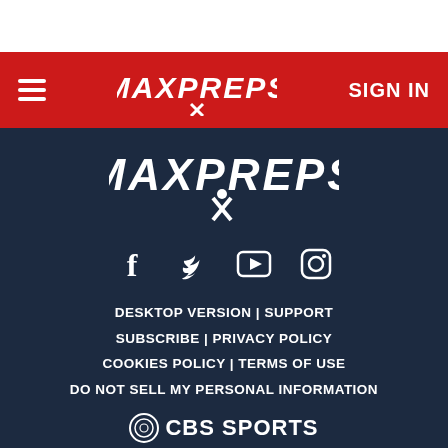MaxPreps — SIGN IN
[Figure (logo): MaxPreps logo large white on navy background]
[Figure (infographic): Social media icons: Facebook, Twitter, YouTube, Instagram]
DESKTOP VERSION | SUPPORT SUBSCRIBE | PRIVACY POLICY COOKIES POLICY | TERMS OF USE DO NOT SELL MY PERSONAL INFORMATION
[Figure (logo): CBS Sports logo in white]
© 2005-2022 CBS Interactive. All rights reserved.
MaxPreps is a registered trademark of CBS Broadcasting Inc.